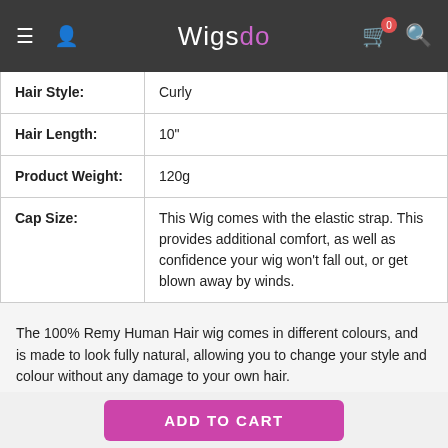Wigsdo
| Attribute | Value |
| --- | --- |
| Hair Style: | Curly |
| Hair Length: | 10" |
| Product Weight: | 120g |
| Cap Size: | This Wig comes with the elastic strap. This provides additional comfort, as well as confidence your wig won't fall out, or get blown away by winds. |
The 100% Remy Human Hair wig comes in different colours, and is made to look fully natural, allowing you to change your style and colour without any damage to your own hair.
Advantages of Capless Wigs
Capless wigs allow your head to stay cooler than solid capped wigs. This is due to the fact that it is made with less hair and the specific
ADD TO CART